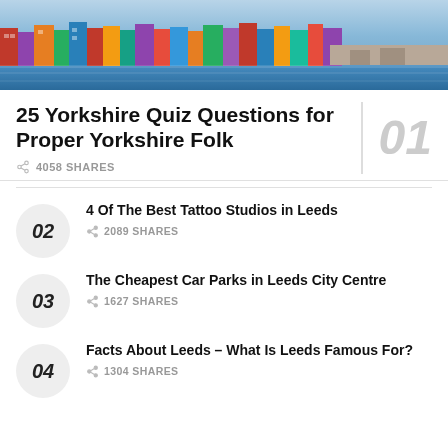[Figure (photo): Aerial/elevated photo of a coastal Yorkshire town with colorful buildings along a waterfront and a harbour]
25 Yorkshire Quiz Questions for Proper Yorkshire Folk
4058 SHARES
4 Of The Best Tattoo Studios in Leeds — 2089 SHARES
The Cheapest Car Parks in Leeds City Centre — 1627 SHARES
Facts About Leeds – What Is Leeds Famous For? — 1304 SHARES